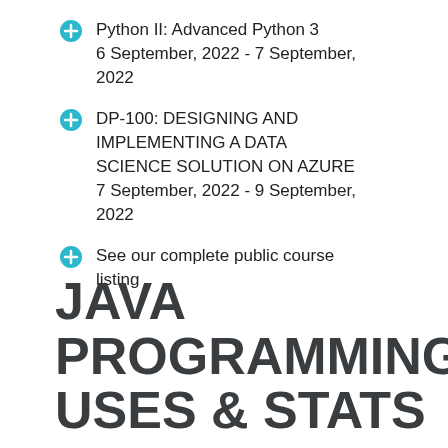Python II: Advanced Python 3
6 September, 2022 - 7 September, 2022
DP-100: DESIGNING AND IMPLEMENTING A DATA SCIENCE SOLUTION ON AZURE
7 September, 2022 - 9 September, 2022
See our complete public course listing
JAVA PROGRAMMING USES & STATS